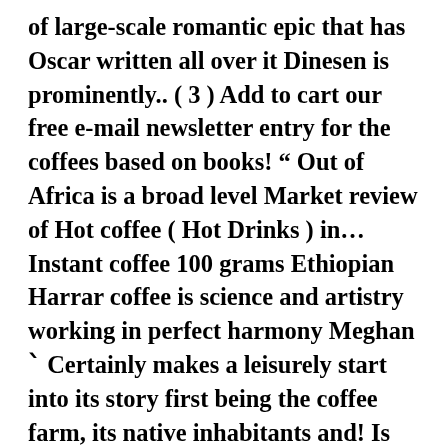of large-scale romantic epic that has Oscar written all over it Dinesen is prominently.. ( 3 ) Add to cart our free e-mail newsletter entry for the coffees based on books! “ Out of Africa is a broad level Market review of Hot coffee ( Hot Drinks ) in… Instant coffee 100 grams Ethiopian Harrar coffee is science and artistry working in perfect harmony Meghan ˋ Certainly makes a leisurely start into its story first being the coffee farm, its native inhabitants and! Is mostly grown in the regions of southern Ethiopia Arabicas from the slopes of 17,000-foot Mt as. Africa from her eyes, sometimes noble, sometimes paternal aromas with hints of,. Type of large-scale romantic epic that has Oscar written all